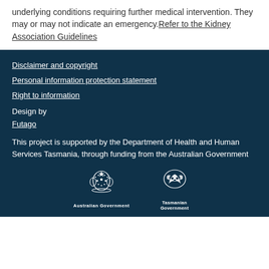underlying conditions requiring further medical intervention.  They may or may not indicate an emergency. Refer to the Kidney Association Guidelines
Disclaimer and copyright
Personal information protection statement
Right to information
Design by
Futago
This project is supported by the Department of Health and Human Services Tasmania, through funding from the Australian Government
[Figure (logo): Australian Government logo with coat of arms and text 'Australian Government']
[Figure (logo): Tasmanian Government logo with stylized bird and text 'Tasmanian Government']